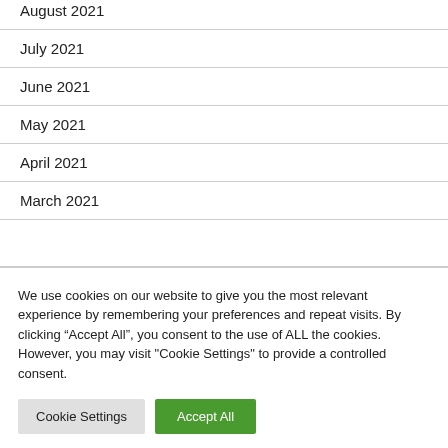August 2021
July 2021
June 2021
May 2021
April 2021
March 2021
We use cookies on our website to give you the most relevant experience by remembering your preferences and repeat visits. By clicking “Accept All”, you consent to the use of ALL the cookies. However, you may visit "Cookie Settings" to provide a controlled consent.